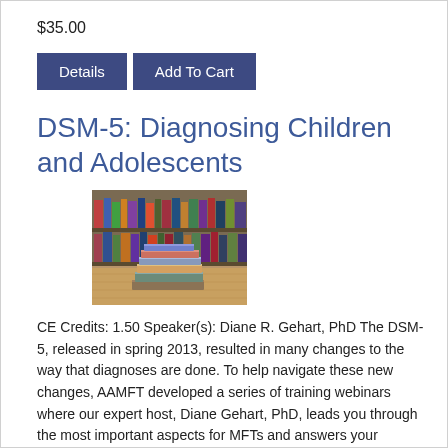$35.00
Details | Add To Cart
DSM-5: Diagnosing Children and Adolescents
[Figure (photo): Stack of books on a wooden surface with bookshelves in the background]
CE Credits: 1.50 Speaker(s): Diane R. Gehart, PhD The DSM-5, released in spring 2013, resulted in many changes to the way that diagnoses are done. To help navigate these new changes, AAMFT developed a series of training webinars where our expert host, Diane Gehart, PhD, leads you through the most important aspects for MFTs and answers your questions! This webinar reviews